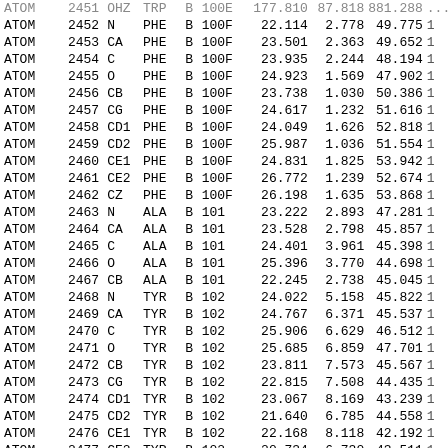| RECORD | SERIAL | NAME | RES | CH | RNUM | X | Y | Z | ... |
| --- | --- | --- | --- | --- | --- | --- | --- | --- | --- |
| ATOM | 2451 | OHZ | TRP | B | 100E | ... | 177.810 | ... | 87.818 | 881.288 |
| ATOM | 2452 | N | PHE | B | 100F | 22.114 | 2.778 | 49.775 |
| ATOM | 2453 | CA | PHE | B | 100F | 23.501 | 2.363 | 49.652 |
| ATOM | 2454 | C | PHE | B | 100F | 23.935 | 2.244 | 48.194 |
| ATOM | 2455 | O | PHE | B | 100F | 24.923 | 1.569 | 47.902 |
| ATOM | 2456 | CB | PHE | B | 100F | 23.738 | 1.030 | 50.386 |
| ATOM | 2457 | CG | PHE | B | 100F | 24.617 | 1.232 | 51.616 |
| ATOM | 2458 | CD1 | PHE | B | 100F | 24.049 | 1.626 | 52.818 |
| ATOM | 2459 | CD2 | PHE | B | 100F | 25.987 | 1.036 | 51.554 |
| ATOM | 2460 | CE1 | PHE | B | 100F | 24.831 | 1.825 | 53.942 |
| ATOM | 2461 | CE2 | PHE | B | 100F | 26.772 | 1.239 | 52.674 |
| ATOM | 2462 | CZ | PHE | B | 100F | 26.198 | 1.635 | 53.868 |
| ATOM | 2463 | N | ALA | B | 101 | 23.222 | 2.893 | 47.281 |
| ATOM | 2464 | CA | ALA | B | 101 | 23.528 | 2.798 | 45.857 |
| ATOM | 2465 | C | ALA | B | 101 | 24.401 | 3.961 | 45.398 |
| ATOM | 2466 | O | ALA | B | 101 | 25.396 | 3.770 | 44.698 |
| ATOM | 2467 | CB | ALA | B | 101 | 22.245 | 2.738 | 45.045 |
| ATOM | 2468 | N | TYR | B | 102 | 24.022 | 5.158 | 45.822 |
| ATOM | 2469 | CA | TYR | B | 102 | 24.767 | 6.371 | 45.537 |
| ATOM | 2470 | C | TYR | B | 102 | 25.906 | 6.629 | 46.512 |
| ATOM | 2471 | O | TYR | B | 102 | 25.685 | 6.859 | 47.701 |
| ATOM | 2472 | CB | TYR | B | 102 | 23.811 | 7.573 | 45.567 |
| ATOM | 2473 | CG | TYR | B | 102 | 22.815 | 7.508 | 44.435 |
| ATOM | 2474 | CD1 | TYR | B | 102 | 23.067 | 8.169 | 43.239 |
| ATOM | 2475 | CD2 | TYR | B | 102 | 21.640 | 6.785 | 44.558 |
| ATOM | 2476 | CE1 | TYR | B | 102 | 22.168 | 8.118 | 42.192 |
| ATOM | 2477 | CE2 | TYR | B | 102 | 20.734 | 6.730 | 43.511 |
| ATOM | 2478 | CZ | TYR | B | 102 | 21.002 | 7.397 | 42.335 |
| ATOM | 2479 | OH | TYR | B | 102 | 20.106 | 7.346 | 41.291 |
| ATOM | 2480 | N | TRP | B | 103 | 27.125 | 6.597 | 45.996 |
| ATOM | 2481 | CA | TRP | B | 103 | 28.311 | 6.966 | 46.749 |